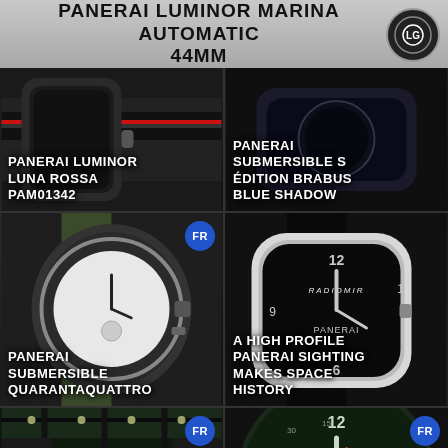PANERAI LUMINOR MARINA AUTOMATIC 44MM
[Figure (photo): Panerai Luminor Luna Rossa PAM01342 watch with striped strap]
PANERAI LUMINOR LUNA ROSSA PAM01342
[Figure (photo): Panerai Submersible S Édition Brabus Blue Shadow watch close-up]
PANERAI SUBMERSIBLE S ÉDITION BRABUS BLUE SHADOW
[Figure (photo): Panerai Submersible Quarantaquattro watch with white dial and olive strap]
PANERAI SUBMERSIBLE QUARANTAQUATTRO
[Figure (photo): Panerai Radiomir watch with black dial - space history sighting]
A HIGH PROFILE PANERAI SIGHTING MAKES SPACE HISTORY
[Figure (photo): Panerai store interior with green illuminated displays]
[Figure (photo): Luminor Panerai watch close-up with green dial and orange hand]